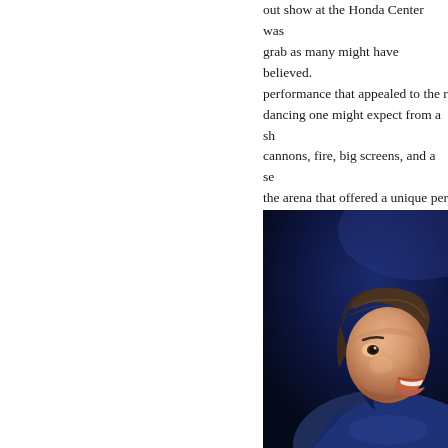out show at the Honda Center was grab as many might have believed. performance that appealed to the r dancing one might expect from a sh cannons, fire, big screens, and a se the arena that offered a unique per attendance. Whether you were a " a child of one, there was something
[Figure (photo): A man with dark brown hair performing on stage, wearing a blue blazer, with his mouth open singing. Dark blue/purple background. Photo is cropped showing head and upper torso, profile view.]